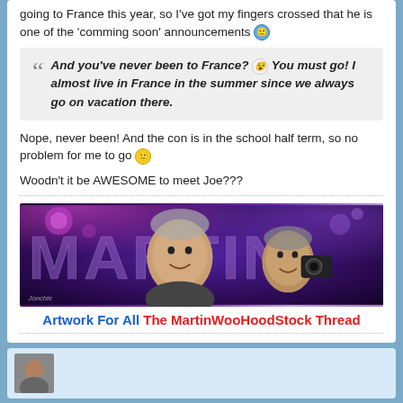going to France this year, so I've got my fingers crossed that he is one of the 'comming soon' announcements 😊
And you've never been to France? 😵 You must go! I almost live in France in the summer since we always go on vacation there.
Nope, never been! And the con is in the school half term, so no problem for me to go 🙂
Woodn't it be AWESOME to meet Joe???
[Figure (photo): Banner image showing two men with stylized purple neon 'Martin' lettering in background, credited to 'Jonchie']
Artwork For All The MartinWooHoodStock Thread
[Figure (photo): Avatar/profile image of a person, partially visible at bottom of page]